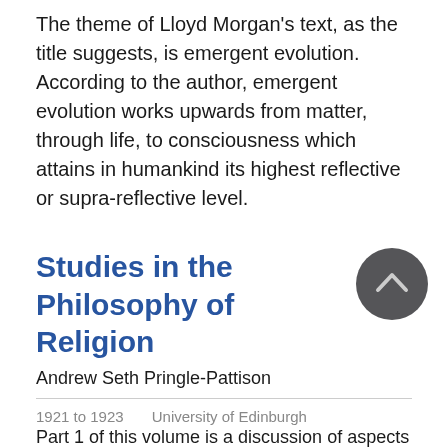The theme of Lloyd Morgan's text, as the title suggests, is emergent evolution. According to the author, emergent evolution works upwards from matter, through life, to consciousness which attains in humankind its highest reflective or supra-reflective level.
Studies in the Philosophy of Religion
[Figure (other): Dark grey circular scroll-to-top button with a chevron/caret pointing upward]
Andrew Seth Pringle-Pattison
1921 to 1923   University of Edinburgh
Part 1 of this volume is a discussion of aspects of religion in general: moral, social, magical. Part 2 is an